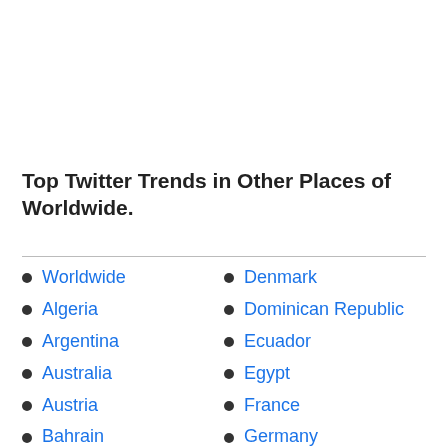Top Twitter Trends in Other Places of Worldwide.
Worldwide
Algeria
Argentina
Australia
Austria
Bahrain
Denmark
Dominican Republic
Ecuador
Egypt
France
Germany